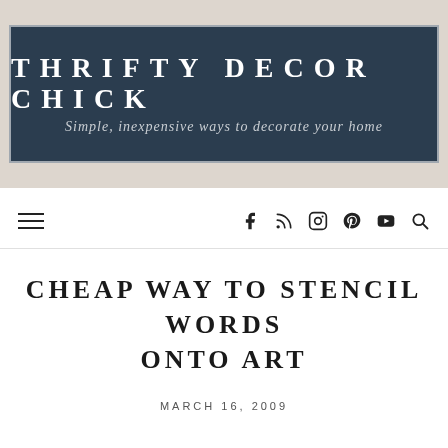[Figure (logo): Thrifty Decor Chick blog header banner with dark navy background, white bold uppercase text 'THRIFTY DECOR CHICK' and italic subtitle 'Simple, inexpensive ways to decorate your home', on a beige/taupe background]
Navigation bar with hamburger menu, social icons (Facebook, RSS, Instagram, Pinterest, YouTube) and search icon
CHEAP WAY TO STENCIL WORDS ONTO ART
MARCH 16, 2009